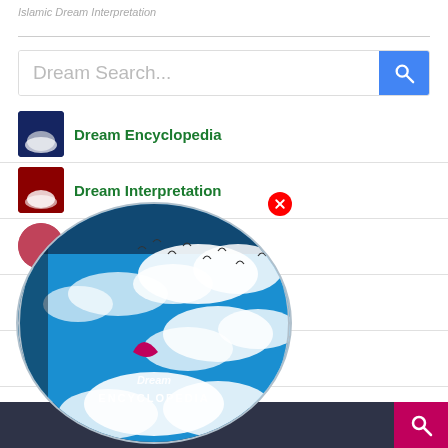Islamic Dream Interpretation
[Figure (screenshot): Search bar with placeholder text 'Dream Search...' and blue search button with magnifying glass icon]
Dream Encyclopedia
Dream Interpretation
[Figure (illustration): A circular globe illustration showing blue sky with clouds and birds, with 'Dream Encyclopedia' text overlay. Has a red close button in top right.]